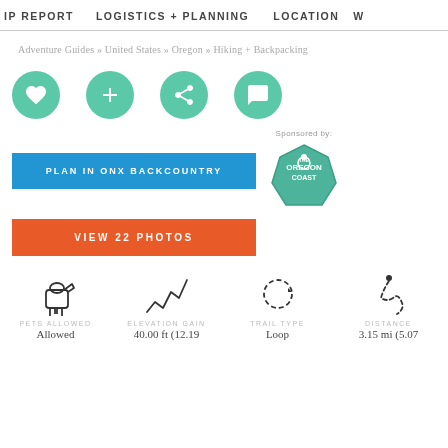IP REPORT   LOGISTICS + PLANNING   LOCATION   W
Adventure Guides » United States » Oregon » Hiking + Backpacking
[Figure (infographic): Four teal circular icon buttons: heart (favorite), plus (add), share, and comment/chat bubble]
[Figure (infographic): Blue button labeled PLAN IN ONX BACKCOUNTRY with Sponsored by text and The Oregon Coast shield badge]
[Figure (infographic): Orange-red button labeled VIEW 22 PHOTOS]
[Figure (infographic): Four trail stat icons with labels: PETS ALLOWED / Allowed, ELEVATION GAIN / 40.00 ft (12.19, TRAIL TYPE / Loop, DISTANCE / 3.15 mi (5.07]